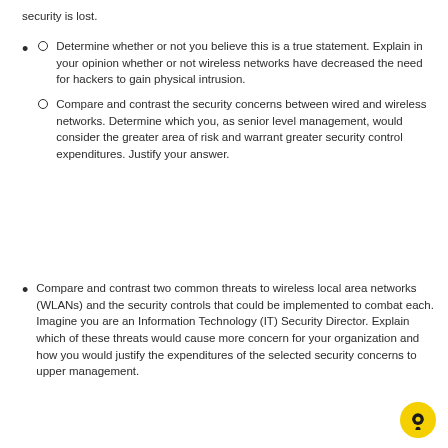security is lost.
Determine whether or not you believe this is a true statement. Explain in your opinion whether or not wireless networks have decreased the need for hackers to gain physical intrusion.
Compare and contrast the security concerns between wired and wireless networks. Determine which you, as senior level management, would consider the greater area of risk and warrant greater security control expenditures. Justify your answer.
Compare and contrast two common threats to wireless local area networks (WLANs) and the security controls that could be implemented to combat each. Imagine you are an Information Technology (IT) Security Director. Explain which of these threats would cause more concern for your organization and how you would justify the expenditures of the selected security concerns to upper management.